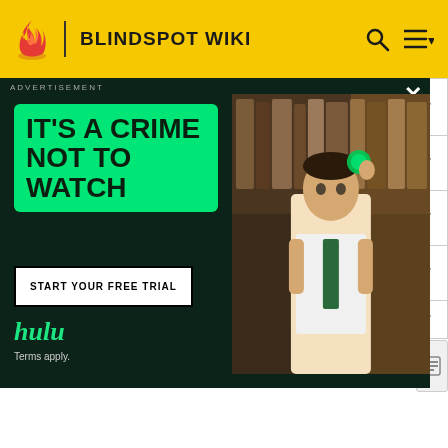BLINDSPOT WIKI
[Figure (screenshot): Hulu advertisement overlay with green headline IT'S A CRIME NOT TO WATCH, START YOUR FREE TRIAL button, hulu branding, and a photo of an actor in a library setting]
| Actor | Character | Episodes | S1 | S2 | S3 | S4 |
| --- | --- | --- | --- | --- | --- | --- |
| Sullivan Stapleton | Kurt Weller | 22 | ✔ | ✔ | ✔ | ✔ |
| Jaimie Alexander | Jane Doe | 22 | ✔ | ✔ | ✔ | ✔ |
| Rob Brown | Edgar Reade | 22 | ✔ | ✔ | ✔ | ✔ |
| Audrey Esparza | Natasha Zapata | 22 | ✔ | ✔ | ✔ | ✔ |
| Ashley | Patterson | 22 | ✔ |  | ✔ | ✔ |